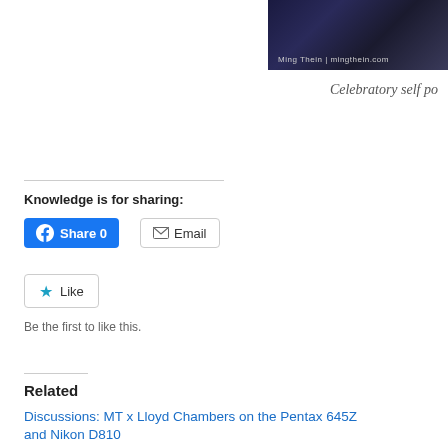[Figure (photo): Dark photo strip with 'Ming Thein | mingthein.com' watermark text]
Celebratory self po
Knowledge is for sharing:
Share 0
Email
Like
Be the first to like this.
Related
Discussions: MT x Lloyd Chambers on the Pentax 645Z and Nikon D810
July 25, 2014
In "Off topic"